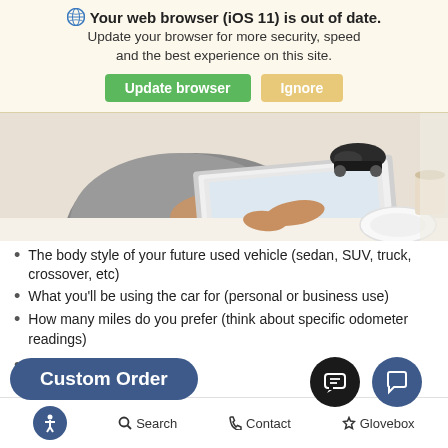Your web browser (iOS 11) is out of date. Update your browser for more security, speed and the best experience on this site.
[Figure (screenshot): Person using a laptop at a white desk with a toy car on the laptop screen and a white plate nearby]
The body style of your future used vehicle (sedan, SUV, truck, crossover, etc)
What you'll be using the car for (personal or business use)
How many miles do you prefer (think about specific odometer readings)
What ... r u... icl (rea... w-p... man...
Search   Contact   Glovebox